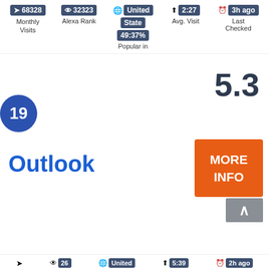68328 Monthly Visits | 32323 Alexa Rank | United State | 2:27 Avg. Visit | 3h ago Last Checked
49:37% Popular in
19
5.3
Outlook
✓
MORE INFO
26 Alexa Rank | United | 5:39 Avg. Visit | 2h ago Last